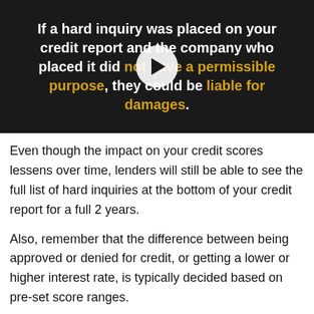[Figure (screenshot): Video thumbnail with dark background showing text: 'If a hard inquiry was placed on your credit report and the company who placed it did not have a permissible purpose, they could be liable for damages.' with a play button overlay. 'not have a permissible purpose' and 'liable for damages' are highlighted in yellow/gold.]
Even though the impact on your credit scores lessens over time, lenders will still be able to see the full list of hard inquiries at the bottom of your credit report for a full 2 years.
Also, remember that the difference between being approved or denied for credit, or getting a lower or higher interest rate, is typically decided based on pre-set score ranges.
If your credit score is on the cusp between poor and fair, 5-10 points might make all the difference in getting better loan terms.